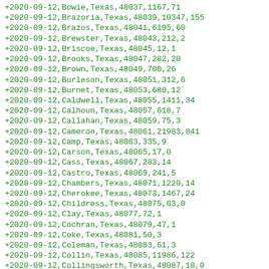+2020-09-12,Bowie,Texas,48037,1167,71
+2020-09-12,Brazoria,Texas,48039,10347,155
+2020-09-12,Brazos,Texas,48041,6195,60
+2020-09-12,Brewster,Texas,48043,212,2
+2020-09-12,Briscoe,Texas,48045,12,1
+2020-09-12,Brooks,Texas,48047,282,20
+2020-09-12,Brown,Texas,48049,700,26
+2020-09-12,Burleson,Texas,48051,312,6
+2020-09-12,Burnet,Texas,48053,680,12
+2020-09-12,Caldwell,Texas,48055,1411,34
+2020-09-12,Calhoun,Texas,48057,618,7
+2020-09-12,Callahan,Texas,48059,75,3
+2020-09-12,Cameron,Texas,48061,21983,841
+2020-09-12,Camp,Texas,48063,335,9
+2020-09-12,Carson,Texas,48065,17,0
+2020-09-12,Cass,Texas,48067,283,14
+2020-09-12,Castro,Texas,48069,241,5
+2020-09-12,Chambers,Texas,48071,1220,14
+2020-09-12,Cherokee,Texas,48073,1467,24
+2020-09-12,Childress,Texas,48075,63,0
+2020-09-12,Clay,Texas,48077,72,1
+2020-09-12,Cochran,Texas,48079,47,1
+2020-09-12,Coke,Texas,48081,50,3
+2020-09-12,Coleman,Texas,48083,61,3
+2020-09-12,Collin,Texas,48085,11986,122
+2020-09-12,Collingsworth,Texas,48087,18,0
+2020-09-12,Colorado,Texas,48089,456,4
+2020-09-12,Comal,Texas,48091,3203,114
+2020-09-12,Comanche,Texas,48093,238,3
+2020-09-12,Concho,Texas,48095,62,2
+2020-09-12,Cooke,Texas,48097,358,5
+2020-09-12,Coryell,Texas,48099,1766,11
+2020-09-12,Cottle,Texas,48101,30,2